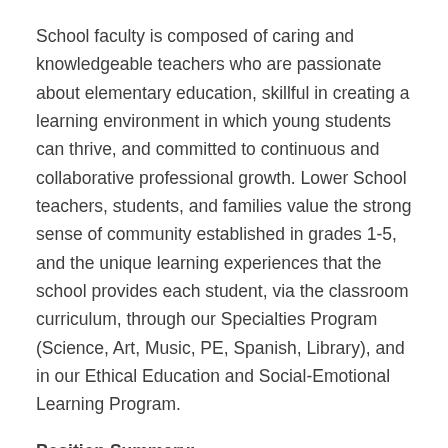School faculty is composed of caring and knowledgeable teachers who are passionate about elementary education, skillful in creating a learning environment in which young students can thrive, and committed to continuous and collaborative professional growth. Lower School teachers, students, and families value the strong sense of community established in grades 1-5, and the unique learning experiences that the school provides each student, via the classroom curriculum, through our Specialties Program (Science, Art, Music, PE, Spanish, Library), and in our Ethical Education and Social-Emotional Learning Program.
Position Summary:
The Beginning School and Lower School Computer Science Specialist will teach students in both divisions, and will help grow and enhance the computer science, robotics, and innovation program. The ideal candidate would have